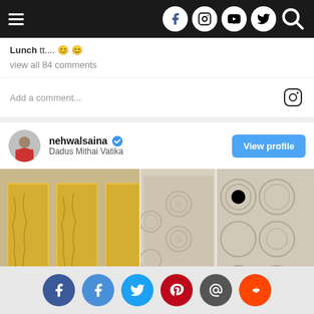Navigation bar with hamburger menu and social icons (Facebook, Instagram, YouTube, Twitter, Search)
Lunch tt.... 😊 😊
view all 84 comments
Add a comment...
nehwalsaina ✓
Dadus Mithai Vatika
View profile
[Figure (photo): Interior of Dadus Mithai Vatika showing yellow framed artworks on wall and decorative stone/textured wall panels]
Read More ∨
Taboola Feed
Social share buttons: Facebook, Facebook, Twitter, Pinterest, Email, Reddit